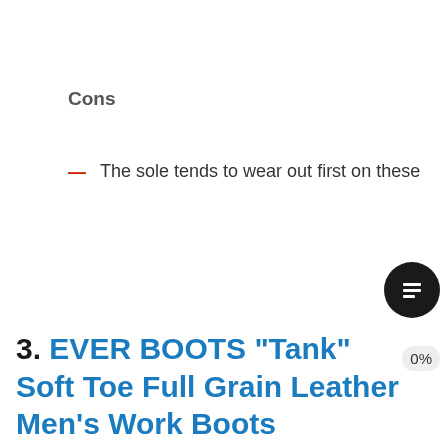Cons
The sole tends to wear out first on these
3. EVER BOOTS “Tank” Soft Toe Full Grain Leather Men’s Work Boots